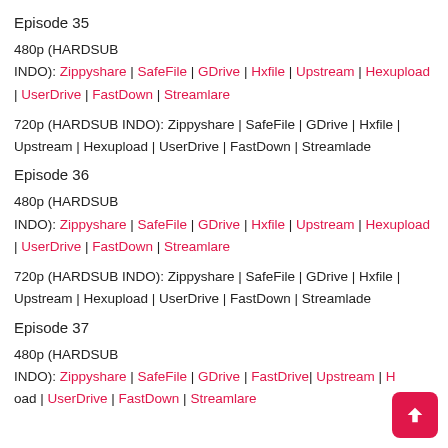Episode 35
480p (HARDSUB INDO): Zippyshare | SafeFile | GDrive | Hxfile | Upstream | Hexupload | UserDrive | FastDown | Streamlare
720p (HARDSUB INDO): Zippyshare | SafeFile | GDrive | Hxfile | Upstream | Hexupload | UserDrive | FastDown | Streamlade
Episode 36
480p (HARDSUB INDO): Zippyshare | SafeFile | GDrive | Hxfile | Upstream | Hexupload | UserDrive | FastDown | Streamlare
720p (HARDSUB INDO): Zippyshare | SafeFile | GDrive | Hxfile | Upstream | Hexupload | UserDrive | FastDown | Streamlade
Episode 37
480p (HARDSUB INDO): Zippyshare | SafeFile | GDrive | FastDrive | Upstream | Hexupload | UserDrive | FastDown | Streamlare